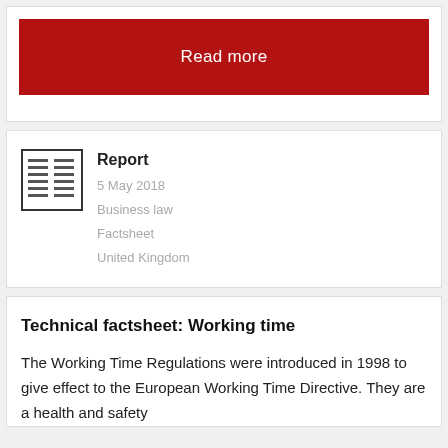Read more
[Figure (illustration): Document/report icon showing a two-column document with text lines]
Report
5 May 2018
Business law
Factsheet
United Kingdom
Technical factsheet: Working time
The Working Time Regulations were introduced in 1998 to give effect to the European Working Time Directive. They are a health and safety